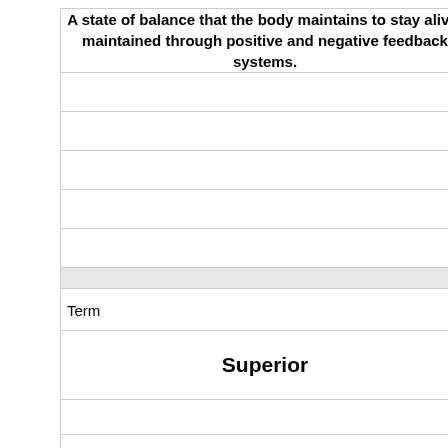| A state of balance that the body maintains to stay alive; maintained through positive and negative feedback systems. |
|  |
|  |
|  |
|  |
|  |
|  |
| Term |
| Superior |
|  |
|  |
|  |
|  |
|  |
|  |